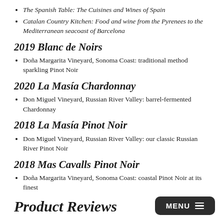The Spanish Table: The Cuisines and Wines of Spain
Catalan Country Kitchen: Food and wine from the Pyrenees to the Mediterranean seacoast of Barcelona
2019 Blanc de Noirs
Doña Margarita Vineyard, Sonoma Coast: traditional method sparkling Pinot Noir
2020 La Masía Chardonnay
Don Miguel Vineyard, Russian River Valley: barrel-fermented Chardonnay
2018 La Masía Pinot Noir
Don Miguel Vineyard, Russian River Valley: our classic Russian River Pinot Noir
2018 Mas Cavalls Pinot Noir
Doña Margarita Vineyard, Sonoma Coast: coastal Pinot Noir at its finest
Product Reviews